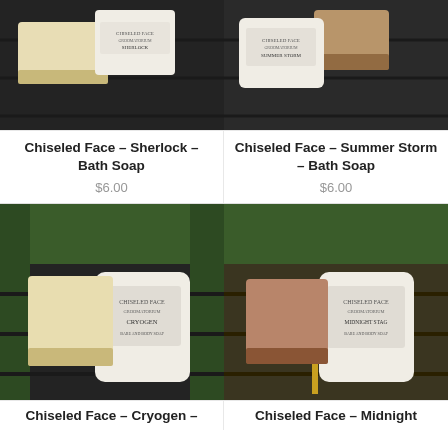[Figure (photo): Chiseled Face Sherlock Bath Soap bars on dark wooden surface with product packaging]
[Figure (photo): Chiseled Face Summer Storm Bath Soap bars on dark wooden surface with product packaging]
Chiseled Face – Sherlock – Bath Soap
$6.00
Chiseled Face – Summer Storm – Bath Soap
$6.00
[Figure (photo): Chiseled Face Cryogen Bath Soap bars on dark surface with Chiseled Face Groomatorium packaging bag]
[Figure (photo): Chiseled Face Midnight Stag Bath Soap bar on dark surface with Chiseled Face Groomatorium packaging bag]
Chiseled Face – Cryogen –
Chiseled Face – Midnight